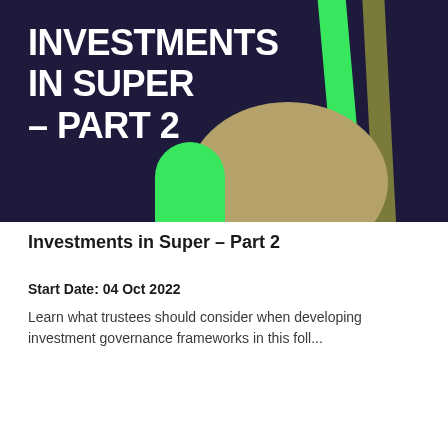[Figure (illustration): Dark navy/purple background banner with large white bold text reading 'INVESTMENTS IN SUPER – PART 2', decorated with a bright green vertical stripe, an olive/dark stripe, a tan circular shape, and a green accent at the bottom.]
Investments in Super – Part 2
Start Date: 04 Oct 2022
Learn what trustees should consider when developing investment governance frameworks in this foll...